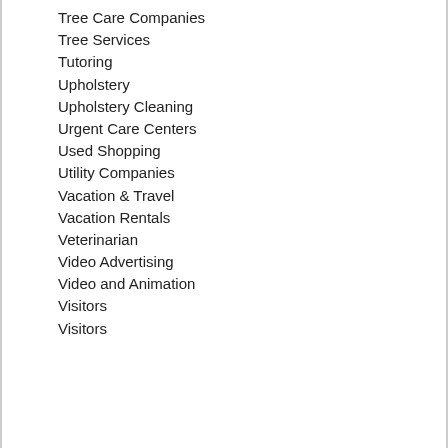Tree Care Companies
Tree Services
Tutoring
Upholstery
Upholstery Cleaning
Urgent Care Centers
Used Shopping
Utility Companies
Vacation & Travel
Vacation Rentals
Veterinarian
Video Advertising
Video and Animation
Visitors
Visitors